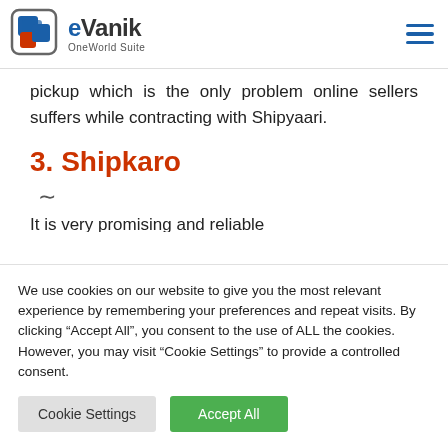[Figure (logo): eVanik OneWorld Suite logo with blue and red square icon]
pickup which is the only problem online sellers suffers while contracting with Shipyaari.
3. Shipkaro
~
It is very promising and reliable
We use cookies on our website to give you the most relevant experience by remembering your preferences and repeat visits. By clicking "Accept All", you consent to the use of ALL the cookies. However, you may visit "Cookie Settings" to provide a controlled consent.